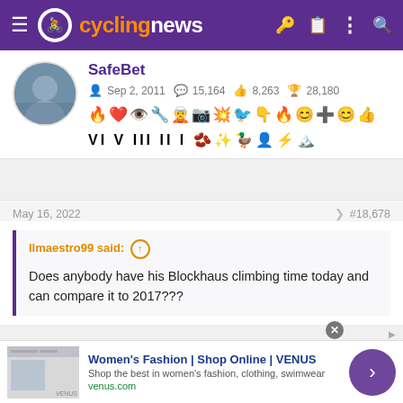cyclingnews
SafeBet — Sep 2, 2011 — 15,164 — 8,263 — 28,180
[Figure (other): User achievement badges and icons row]
May 16, 2022  #18,678
Ilmaestro99 said: Does anybody have his Blockhaus climbing time today and can compare it to 2017???
[Figure (other): Advertisement banner: Women's Fashion | Shop Online | VENUS — venus.com]